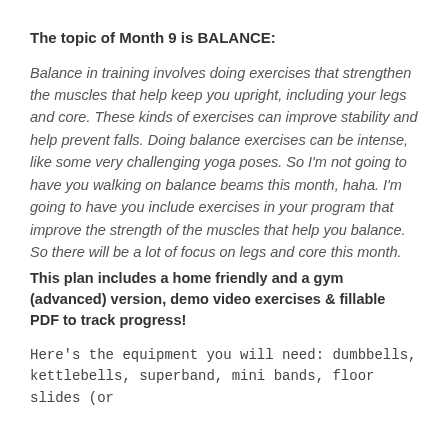The topic of Month 9 is BALANCE:
Balance in training involves doing exercises that strengthen the muscles that help keep you upright, including your legs and core. These kinds of exercises can improve stability and help prevent falls. Doing balance exercises can be intense, like some very challenging yoga poses. So I'm not going to have you walking on balance beams this month, haha. I'm going to have you include exercises in your program that improve the strength of the muscles that help you balance. So there will be a lot of focus on legs and core this month.
This plan includes a home friendly and a gym (advanced) version, demo video exercises & fillable PDF to track progress!
Here's the equipment you will need: dumbbells, kettlebells, superband, mini bands, floor slides (or